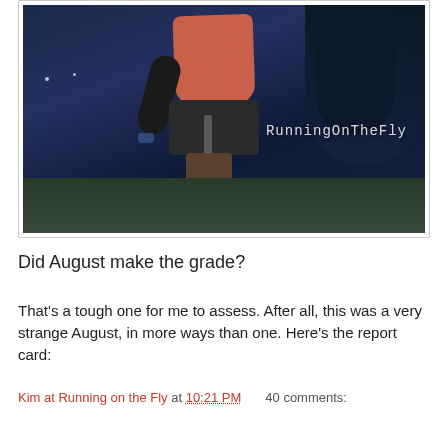[Figure (photo): Night-time photo of a runner from below the waist, wearing a salmon/coral shirt, black shorts, and a compression sleeve on the leg. The background shows a dark blue night sky and trees. The watermark 'RunningOnTheFly' appears in white text on the right side of the image.]
Did August make the grade?
That's a tough one for me to assess. After all, this was a very strange August, in more ways than one. Here's the report card:
Kim at Running on the Fly at 10:21 PM    40 comments:
Share